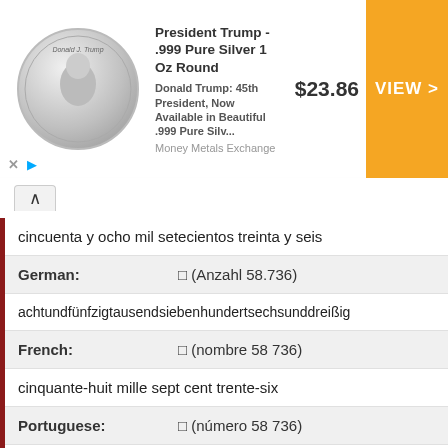[Figure (other): Advertisement banner for President Trump .999 Pure Silver 1 Oz Round coin, showing a silver coin image, product description, price $23.86, and a VIEW button.]
cincuenta y ocho mil setecientos treinta y seis
German:   □ (Anzahl 58.736)
achtundfünfzigtausendsiebenhundertsechsunddreißig
French:   □ (nombre 58 736)
cinquante-huit mille sept cent trente-six
Portuguese:   □ (número 58 736)
cinquenta e oito mil, setecentos e trinta e seis